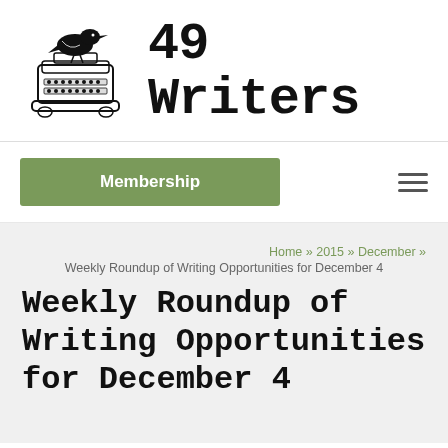[Figure (logo): 49 Writers logo with a crow perched on a typewriter, beside large bold typewriter-font text reading '49 Writers']
Membership
Weekly Roundup of Writing Opportunities for December 4
Home » 2015 » December » Weekly Roundup of Writing Opportunities for December 4